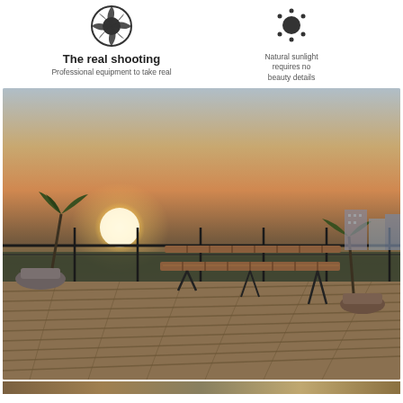[Figure (illustration): Camera lens shutter icon (dark circular icon with aperture blades)]
The real shooting
Professional equipment to take real
[Figure (illustration): Sun icon with dots around it representing natural sunlight]
Natural sunlight requires no beauty details
[Figure (photo): Rooftop terrace at sunset with a wooden bench, wooden deck floor, potted plants, metal railing, city buildings in background, large setting sun visible in hazy sky]
[Figure (photo): Partial view of rooftop at bottom strip]